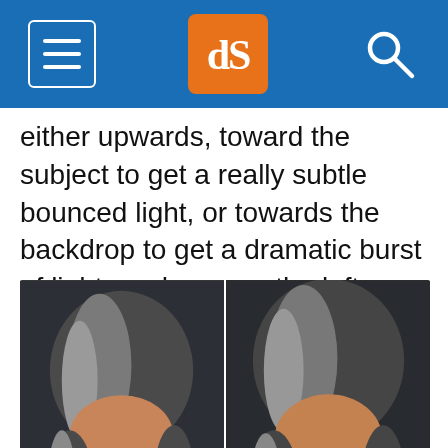dPS navigation header with hamburger menu, logo, and search icon
either upwards, toward the subject to get a really subtle bounced light, or towards the backdrop to get a dramatic burst of light as shown on the left above.
[Figure (photo): Side-by-side portrait photographs of a woman with salt-and-pepper hair wearing a black and white striped top, shown against a dark background. Left image shows slightly wider framing, right image shows tighter crop of the same subject.]